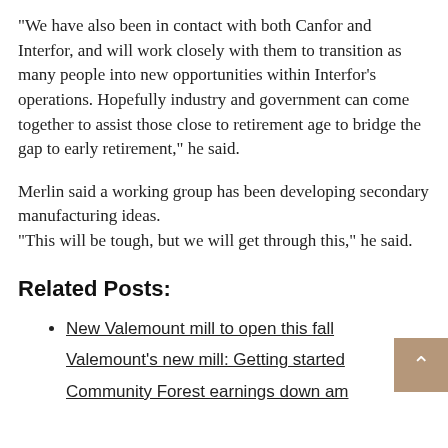“We have also been in contact with both Canfor and Interfor, and will work closely with them to transition as many people into new opportunities within Interfor’s operations. Hopefully industry and government can come together to assist those close to retirement age to bridge the gap to early retirement,” he said.
Merlin said a working group has been developing secondary manufacturing ideas.
“This will be tough, but we will get through this,” he said.
Related Posts:
New Valemount mill to open this fall
Valemount’s new mill: Getting started
Community Forest earnings down and closure